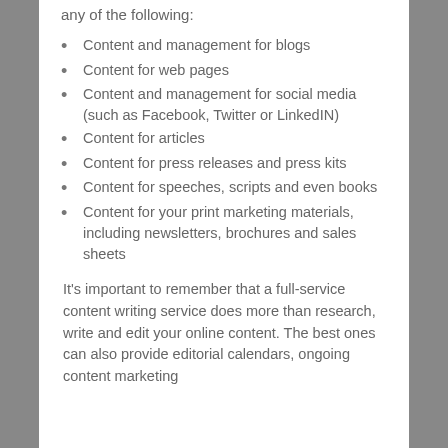any of the following:
Content and management for blogs
Content for web pages
Content and management for social media (such as Facebook, Twitter or LinkedIN)
Content for articles
Content for press releases and press kits
Content for speeches, scripts and even books
Content for your print marketing materials, including newsletters, brochures and sales sheets
It’s important to remember that a full-service content writing service does more than research, write and edit your online content. The best ones can also provide editorial calendars, ongoing content marketing